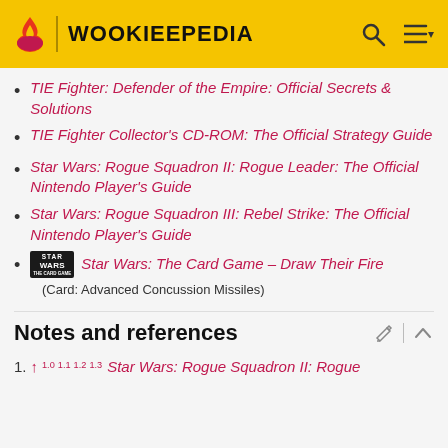WOOKIEEPEDIA
TIE Fighter: Defender of the Empire: Official Secrets & Solutions
TIE Fighter Collector's CD-ROM: The Official Strategy Guide
Star Wars: Rogue Squadron II: Rogue Leader: The Official Nintendo Player's Guide
Star Wars: Rogue Squadron III: Rebel Strike: The Official Nintendo Player's Guide
Star Wars: The Card Game – Draw Their Fire
(Card: Advanced Concussion Missiles)
Notes and references
1. ↑ 1.0 1.1 1.2 1.3 Star Wars: Rogue Squadron II: Rogue